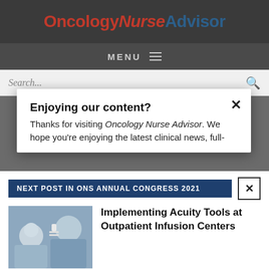OncologyNurseAdvisor
MENU
Search...
Enjoying our content?
Thanks for visiting Oncology Nurse Advisor. We hope you're enjoying the latest clinical news, full-
NEXT POST IN ONS ANNUAL CONGRESS 2021
[Figure (photo): Healthcare worker wearing mask with elderly patient]
Implementing Acuity Tools at Outpatient Infusion Centers
LOGIN    REGISTER